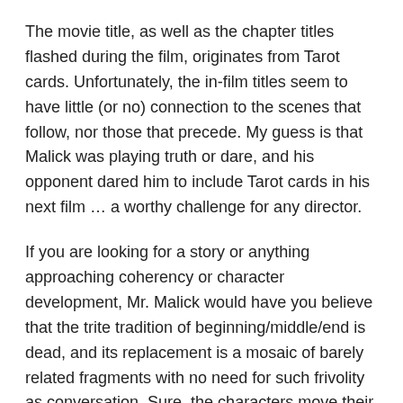The movie title, as well as the chapter titles flashed during the film, originates from Tarot cards. Unfortunately, the in-film titles seem to have little (or no) connection to the scenes that follow, nor those that precede. My guess is that Malick was playing truth or dare, and his opponent dared him to include Tarot cards in his next film … a worthy challenge for any director.
If you are looking for a story or anything approaching coherency or character development, Mr. Malick would have you believe that the trite tradition of beginning/middle/end is dead, and its replacement is a mosaic of barely related fragments with no need for such frivolity as conversation. Sure, the characters move their lips, but mostly what's heard is whispered narration and mood music.